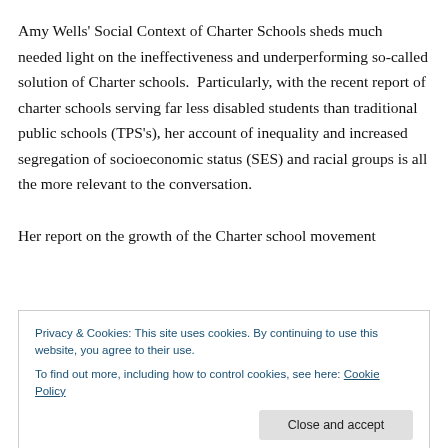Amy Wells' Social Context of Charter Schools sheds much needed light on the ineffectiveness and underperforming so-called solution of Charter schools.  Particularly, with the recent report of charter schools serving far less disabled students than traditional public schools (TPS's), her account of inequality and increased segregation of socioeconomic status (SES) and racial groups is all the more relevant to the conversation.
Her report on the growth of the Charter school movement
Privacy & Cookies: This site uses cookies. By continuing to use this website, you agree to their use.
To find out more, including how to control cookies, see here: Cookie Policy
vicariously through the upper-elite, specifically the top 5%